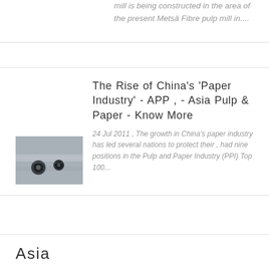mill is being constructed in the area of the present Metsä Fibre pulp mill in....
[Figure (photo): Close-up photo of industrial machinery parts, dark metallic components with connectors or fittings visible]
The Rise of China's 'Paper Industry' - APP , - Asia Pulp & Paper - Know More
24 Jul 2011 , The growth in China's paper industry has led several nations to protect their , had nine positions in the Pulp and Paper Industry (PPI) Top 100...
Asia